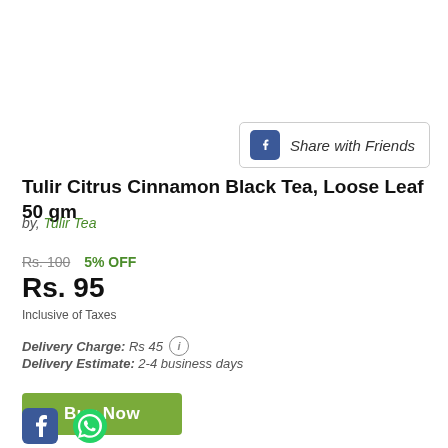[Figure (screenshot): Facebook Share with Friends button with Facebook icon and border]
Tulir Citrus Cinnamon Black Tea, Loose Leaf 50 gm
by, Tulir Tea
Rs. 100   5% OFF
Rs. 95
Inclusive of Taxes
Delivery Charge: Rs 45  (i)
Delivery Estimate: 2-4 business days
[Figure (screenshot): Buy Now green button]
[Figure (logo): Facebook icon at bottom left]
[Figure (logo): WhatsApp icon at bottom]